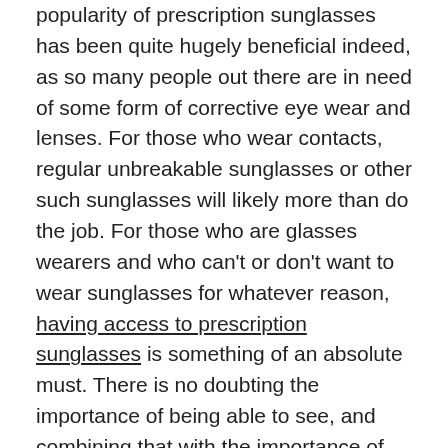popularity of prescription sunglasses has been quite hugely beneficial indeed, as so many people out there are in need of some form of corrective eye wear and lenses. For those who wear contacts, regular unbreakable sunglasses or other such sunglasses will likely more than do the job. For those who are glasses wearers and who can't or don't want to wear sunglasses for whatever reason, having access to prescription sunglasses is something of an absolute must. There is no doubting the importance of being able to see, and combining that with the importance of protecting one's eyes makes for a winning product indeed, one that is only continuing to grow more and more popular as time passes on.

Protecting your eyes is something that matters a lot, and the use of sunglasses is one way to do this.
Mens wrap around sunglasses, Prescription sunglasses, Wraparound polarized sunglasses